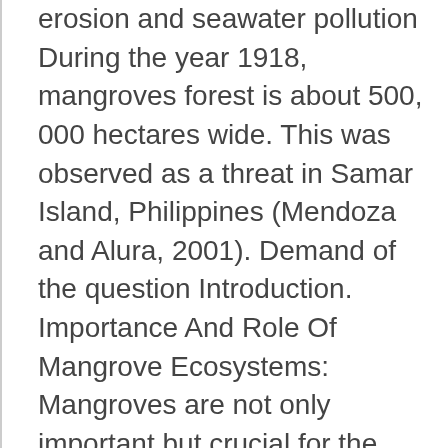erosion and seawater pollution During the year 1918, mangroves forest is about 500, 000 hectares wide. This was observed as a threat in Samar Island, Philippines (Mendoza and Alura, 2001). Demand of the question Introduction. Importance And Role Of Mangrove Ecosystems: Mangroves are not only important but crucial for the coastal areas. Mangroves are important sites used as nursery and breeding ground for birds, reptiles, crustacean, mammals and fish. Mangroves: 11 facts you need to know These unique trees lead tough lives — but we're all the better for it. You can order Unique paper and our professionals Rewrite it for you. The most grave role of mangroves is that they stroke delicate seashorelines from prospers consequently they lean the befoul unitedly and bar seashoreal erosion. The Importance Of Mangroves. Mangroves are utilized in many parts of the world as a